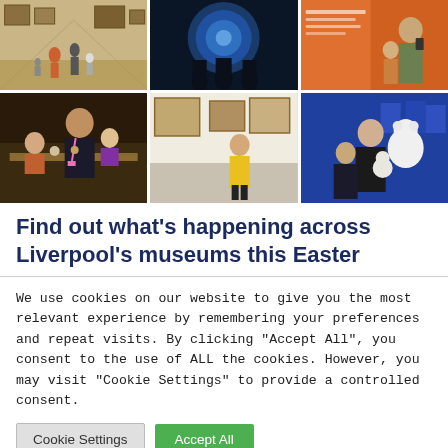[Figure (photo): 3x2 grid of museum photos: art gallery with visitors, dark immersive exhibit with silhouettes, orange museum exhibit with mother and child, museum educator with babies, girl in yellow in art gallery, woman and child with stuffed polar bear]
Find out what's happening across Liverpool's museums this Easter
We use cookies on our website to give you the most relevant experience by remembering your preferences and repeat visits. By clicking "Accept All", you consent to the use of ALL the cookies. However, you may visit "Cookie Settings" to provide a controlled consent.
Cookie Settings | Accept All